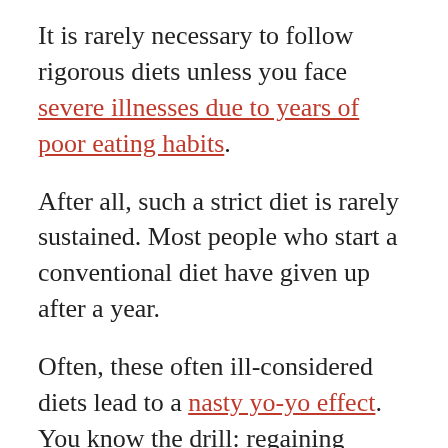It is rarely necessary to follow rigorous diets unless you face severe illnesses due to years of poor eating habits.
After all, such a strict diet is rarely sustained. Most people who start a conventional diet have given up after a year.
Often, these often ill-considered diets lead to a nasty yo-yo effect. You know the drill: regaining weight after a (failed) diet. Which might make you decide to